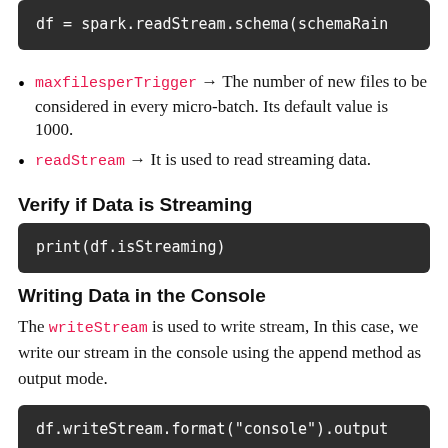df = spark.readStream.schema(schemaRain
maxfilesperTrigger → The number of new files to be considered in every micro-batch. Its default value is 1000.
readStream → It is used to read streaming data.
Verify if Data is Streaming
print(df.isStreaming)
Writing Data in the Console
The writeStream is used to write stream, In this case, we write our stream in the console using the append method as output mode.
df.writeStream.format("console").output